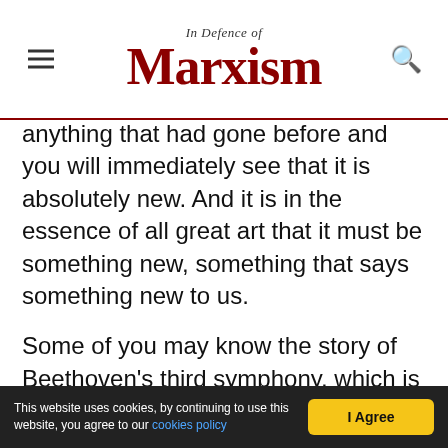In Defence of Marxism
anything that had gone before and you will immediately see that it is absolutely new. And it is in the essence of all great art that it must be something new, something that says something new to us.
Some of you may know the story of Beethoven's third symphony, which is called the Eroica Symphony, that is, the symphony of a hero. Here is the very spirit of the French Revolution in music. You doubt that, you think that I am making it up? But it is a well documented fact! Beethoven thought that Napoleon was a continuation of the French
This website uses cookies, by continuing to use this website, you agree to our cookies policy   I Agree